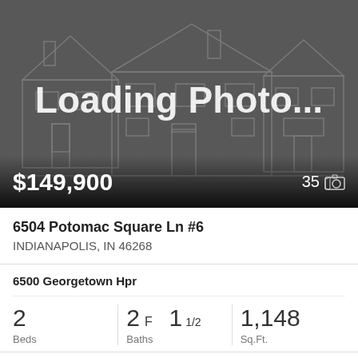[Figure (photo): Loading Photo placeholder with house outline illustration on dark gray background showing price $149,900 and photo count 35]
$149,900
35 📷
6504 Potomac Square Ln #6
INDIANAPOLIS, IN 46268
6500 Georgetown Hpr
2 Beds
2F 1 1/2 Baths
1,148 Sq.Ft.
Ladd Realty, Llc